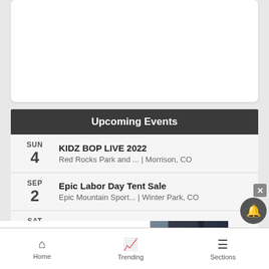[Figure (other): White card area placeholder at top of page]
Upcoming Events
SUN 4 | KIDZ BOP LIVE 2022 | Red Rocks Park and ... | Morrison, CO
SEP 2 | Epic Labor Day Tent Sale | Epic Mountain Sport... | Winter Park, CO
SAT 3 | (partial, obscured by ad)
[Figure (screenshot): Bloomingdale's advertisement: View Today's Top Deals! SHOP NOW >]
Home   Trending   Sections